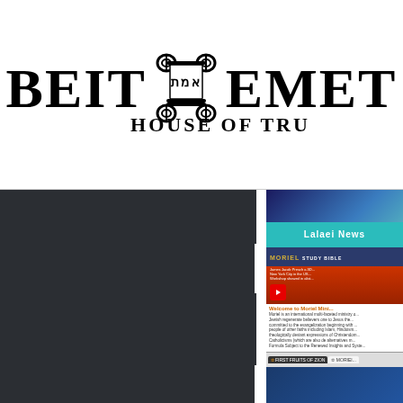[Figure (logo): Beit Emet House of Truth logo with Torah scroll emblem between the words BEIT and EMET, and tagline HOUSE OF TRUTH]
[Figure (screenshot): Website screenshot showing a dark left sidebar navigation panel with notch cutouts, and on the right side three website preview panels: Lalaei News (teal bar), Moriel Ministries website with video thumbnail and welcome text, and First Fruits of Zion tab interface]
Lalaei News
Welcome to Moriel Mini...
FIRST FRUITS OF ZION